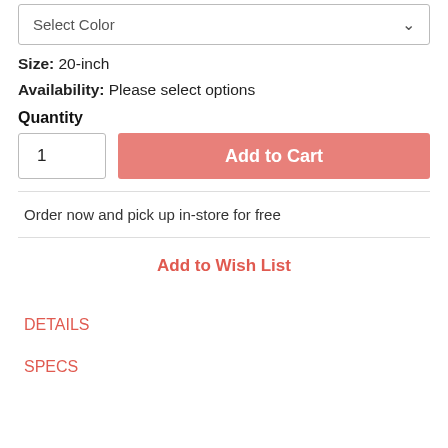Select Color
Size: 20-inch
Availability: Please select options
Quantity
1
Add to Cart
Order now and pick up in-store for free
Add to Wish List
DETAILS
SPECS